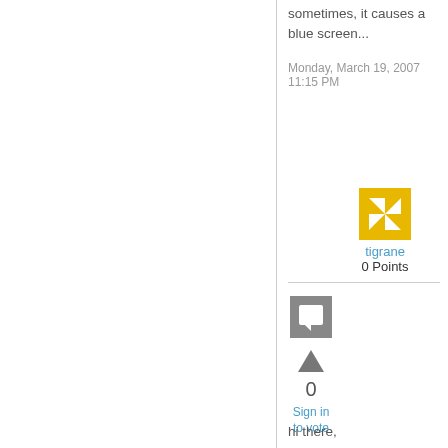sometimes, it causes a blue screen...
Monday, March 19, 2007 11:15 PM
[Figure (illustration): Yellow pinwheel/snowflake user avatar icon]
tigrane
0 Points
[Figure (illustration): Grey square comment icon with speech bubble]
[Figure (illustration): Upvote triangle arrow]
0
Sign in to vote
hi there,